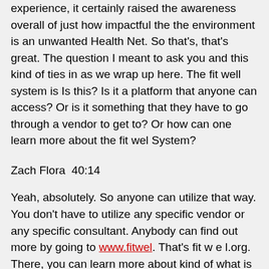experience, it certainly raised the awareness overall of just how impactful the the environment is an unwanted Health Net. So that's, that's great. The question I meant to ask you and this kind of ties in as we wrap up here. The fit well system is Is this? Is it a platform that anyone can access? Or is it something that they have to go through a vendor to get to? Or how can one learn more about the fit wel System?
Zach Flora  40:14
Yeah, absolutely. So anyone can utilize that way. You don't have to utilize any specific vendor or any specific consultant. Anybody can find out more by going to www.fitwel. That's fit w e l.org. There, you can learn more about kind of what is fit well, how does it work, and access our kind of our proprietary